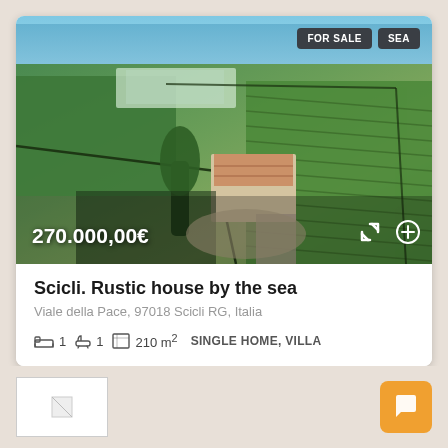[Figure (photo): Aerial drone photo of a rustic house by the sea in Sicily, surrounded by agricultural fields and vineyards with the Mediterranean Sea visible in the background. Price overlay shows 270.000,00€. Badges for FOR SALE and SEA in top right.]
Scicli. Rustic house by the sea
Viale della Pace, 97018 Scicli RG, Italia
1  1  210 m²  SINGLE HOME, VILLA
[Figure (logo): Small logo image in bottom left]
[Figure (other): Orange chat button in bottom right]